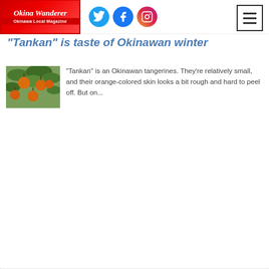Okinawa Wanderer — Okinawa Local Magazine
stands on high elevation, you are able t...
"Tankan" is taste of Okinawan winter
[Figure (photo): Photo of tankan tangerines hanging on a tree branch, orange-colored citrus fruits with green leaves]
"Tankan" is an Okinawan tangerines. They're relatively small, and their orange-colored skin looks a bit rough and hard to peel off. But on...